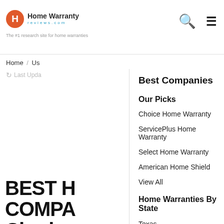Home Warranty Reviews - The #1 research site for home warranties
Home / Us
Last Upda
BEST H COMPA Charles
Avera
Best Companies
Our Picks
Choice Home Warranty
ServicePlus Home Warranty
Select Home Warranty
American Home Shield
View All
Home Warranties By State
Texas
California
Florida
Arizona